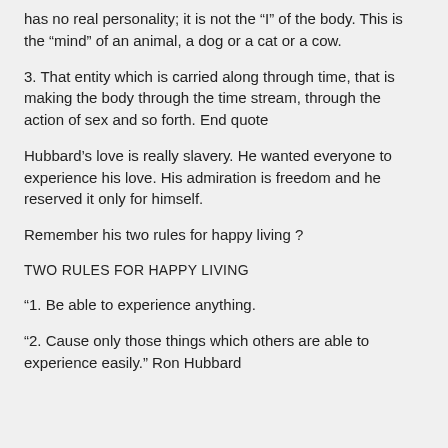has no real personality; it is not the “I” of the body. This is the “mind” of an animal, a dog or a cat or a cow.
3. That entity which is carried along through time, that is making the body through the time stream, through the action of sex and so forth. End quote
Hubbard’s love is really slavery. He wanted everyone to experience his love. His admiration is freedom and he reserved it only for himself.
Remember his two rules for happy living ?
TWO RULES FOR HAPPY LIVING
“1. Be able to experience anything.
“2. Cause only those things which others are able to experience easily.” Ron Hubbard